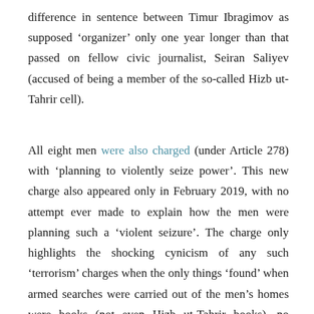difference in sentence between Timur Ibragimov as supposed 'organizer' only one year longer than that passed on fellow civic journalist, Seiran Saliyev (accused of being a member of the so-called Hizb ut-Tahrir cell).
All eight men were also charged (under Article 278) with 'planning to violently seize power'. This new charge also appeared only in February 2019, with no attempt ever made to explain how the men were planning such a 'violent seizure'. The charge only highlights the shocking cynicism of any such 'terrorism' charges when the only things 'found' when armed searches were carried out of the men's homes were books (not even Hizb ut-Tahrir books), no weapons, no evidence of plans to commit violence. Russian prosecutors simply claim that this follows from Hizb ut-Tahrir ideology. Memorial HRC notes that the extra charge is often laid